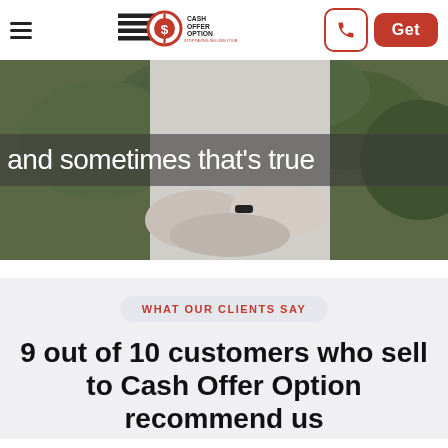[Figure (screenshot): Website navigation bar with hamburger menu icon, Cash Offer Option logo, phone icon button, and red 'Get' button]
[Figure (photo): Hero image of a person in a white shirt with arms crossed against greenery background. Overlay text reads 'and sometimes that's true']
WHAT OUR CLIENTS SAY
9 out of 10 customers who sell to Cash Offer Option recommend us